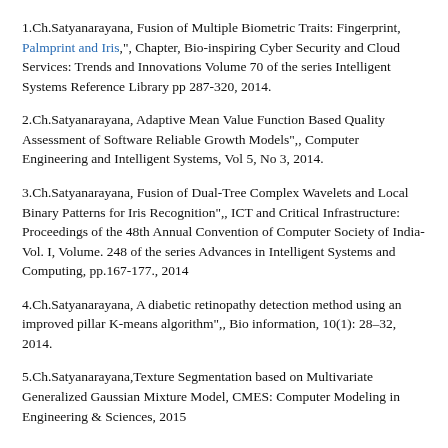1.Ch.Satyanarayana, Fusion of Multiple Biometric Traits: Fingerprint, Palmprint and Iris,", Chapter, Bio-inspiring Cyber Security and Cloud Services: Trends and Innovations Volume 70 of the series Intelligent Systems Reference Library pp 287-320, 2014.
2.Ch.Satyanarayana, Adaptive Mean Value Function Based Quality Assessment of Software Reliable Growth Models",, Computer Engineering and Intelligent Systems, Vol 5, No 3, 2014.
3.Ch.Satyanarayana, Fusion of Dual-Tree Complex Wavelets and Local Binary Patterns for Iris Recognition",, ICT and Critical Infrastructure: Proceedings of the 48th Annual Convention of Computer Society of India-Vol. I, Volume. 248 of the series Advances in Intelligent Systems and Computing, pp.167-177., 2014
4.Ch.Satyanarayana, A diabetic retinopathy detection method using an improved pillar K-means algorithm",, Bio information, 10(1): 28–32, 2014.
5.Ch.Satyanarayana,Texture Segmentation based on Multivariate Generalized Gaussian Mixture Model, CMES: Computer Modeling in Engineering & Sciences, 2015